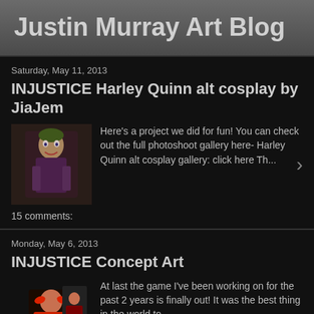Justin Murray Art Blog
Saturday, May 11, 2013
INJUSTICE Harley Quinn alt cosplay by JiaJem
Here's a project we did for fun! You can check out the full photoshoot gallery here- Harley Quinn alt cosplay gallery: click here Th...
15 comments:
Monday, May 6, 2013
INJUSTICE Concept Art
At last the game I've been working on for the past 2 years is finally out! It was the best thing in the world to ...